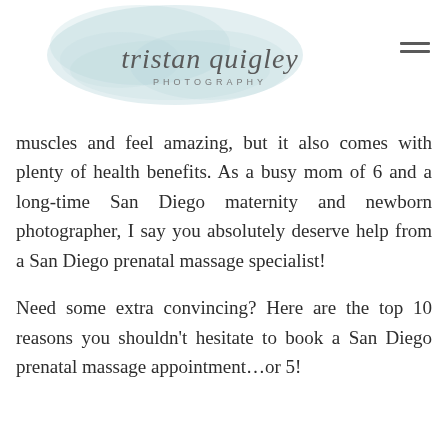[Figure (logo): Tristan Quigley Photography logo with script text over a watercolor floral background, and a hamburger menu icon in the top right]
muscles and feel amazing, but it also comes with plenty of health benefits. As a busy mom of 6 and a long-time San Diego maternity and newborn photographer, I say you absolutely deserve help from a San Diego prenatal massage specialist!
Need some extra convincing? Here are the top 10 reasons you shouldn't hesitate to book a San Diego prenatal massage appointment…or 5!